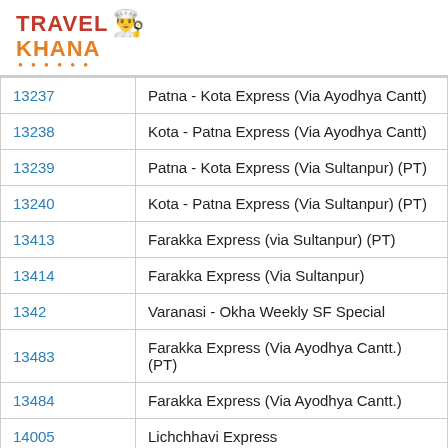[Figure (logo): TravelKhana logo with chef hat icon, red TRAVEL text and orange KHANA text with orange dots underline]
| 13237 | Patna - Kota Express (Via Ayodhya Cantt) |
| 13238 | Kota - Patna Express (Via Ayodhya Cantt) |
| 13239 | Patna - Kota Express (Via Sultanpur) (PT) |
| 13240 | Kota - Patna Express (Via Sultanpur) (PT) |
| 13413 | Farakka Express (via Sultanpur) (PT) |
| 13414 | Farakka Express (Via Sultanpur) |
| 1342 | Varanasi - Okha Weekly SF Special |
| 13483 | Farakka Express (Via Ayodhya Cantt.) (PT) |
| 13484 | Farakka Express (Via Ayodhya Cantt.) |
| 14005 | Lichchhavi Express |